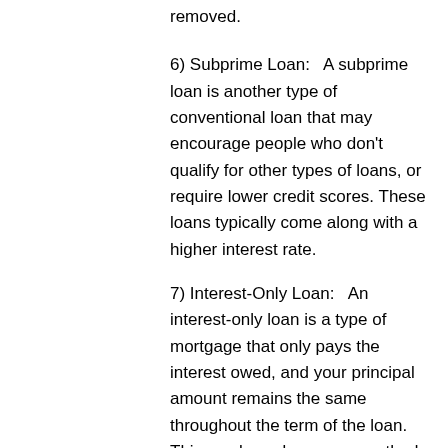removed.
6) Subprime Loan:   A subprime loan is another type of conventional loan that may encourage people who don't qualify for other types of loans, or require lower credit scores. These loans typically come along with a higher interest rate.
7) Interest-Only Loan:   An interest-only loan is a type of mortgage that only pays the interest owed, and your principal amount remains the same throughout the term of the loan. This can be a dangerous method to use because if something goes wrong and you lose your job, you will have to pay back the loan in full with very little time to save up the money.